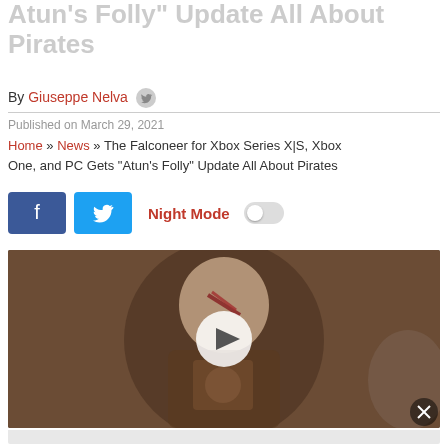Atun's Folly Update All About Pirates
By Giuseppe Nelva
Published on March 29, 2021
Home » News » The Falconeer for Xbox Series X|S, Xbox One, and PC Gets "Atun's Folly" Update All About Pirates
[Figure (screenshot): Social share buttons: Facebook (blue) and Twitter (light blue), Night Mode toggle (off)]
[Figure (photo): Video thumbnail showing a bald warrior character (resembling Kratos) with red face paint, armored, looking stern. A white play button triangle is centered on the image.]